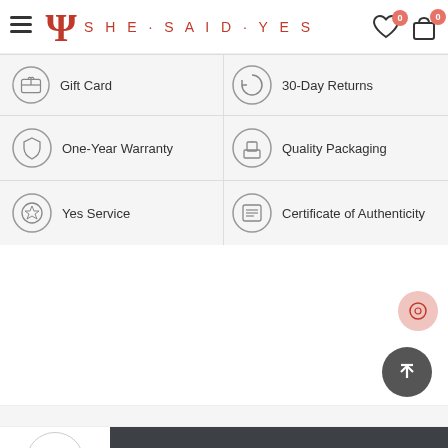SHE·SAID·YES — Navigation header with logo, wishlist (0), and bag (0)
Gift Card
30-Day Returns
One-Year Warranty
Quality Packaging
Yes Service
Certificate of Authenticity
Add To Bag